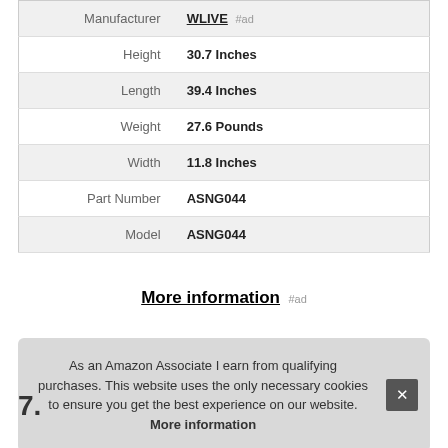| Attribute | Value |
| --- | --- |
| Manufacturer | WLIVE #ad |
| Height | 30.7 Inches |
| Length | 39.4 Inches |
| Weight | 27.6 Pounds |
| Width | 11.8 Inches |
| Part Number | ASNG044 |
| Model | ASNG044 |
More information #ad
As an Amazon Associate I earn from qualifying purchases. This website uses the only necessary cookies to ensure you get the best experience on our website. More information
7.